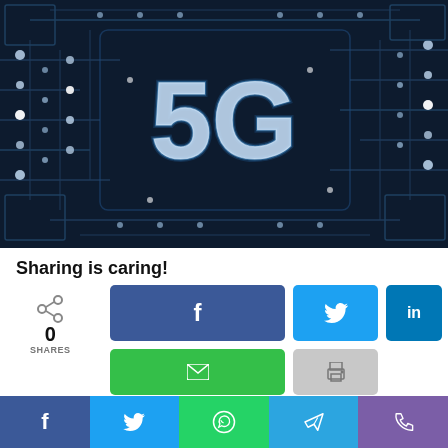[Figure (photo): 5G circuit board technology image with glowing blue circuit traces and large '5G' text in the center on a dark navy background]
Sharing is caring!
[Figure (infographic): Social sharing widget with 0 shares counter and buttons for Facebook (f), Twitter (bird), LinkedIn (in), Email (envelope), Print (printer icon), and a bottom bar with Facebook, Twitter, WhatsApp, Telegram, and Phone icons]